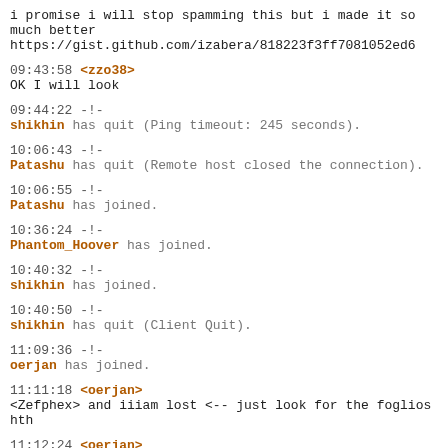i promise i will stop spamming this but i made it so
much better
https://gist.github.com/izabera/818223f3ff7081052ed6
09:43:58 <zzo38>
OK I will look
09:44:22 -!-
shikhin has quit (Ping timeout: 245 seconds).
10:06:43 -!-
Patashu has quit (Remote host closed the connection).
10:06:55 -!-
Patashu has joined.
10:36:24 -!-
Phantom_Hoover has joined.
10:40:32 -!-
shikhin has joined.
10:40:50 -!-
shikhin has quit (Client Quit).
11:09:36 -!-
oerjan has joined.
11:11:18 <oerjan>
<Zefphex> and iiiam lost <-- just look for the foglios
hth
11:12:24 <oerjan>
booth 704 hth